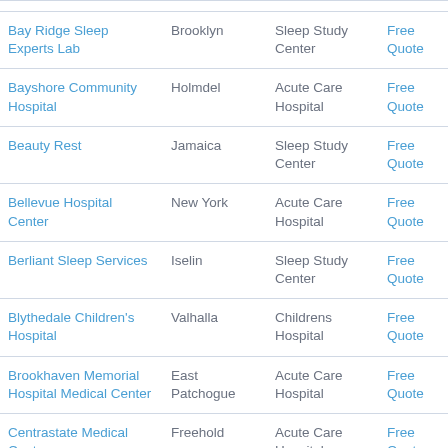| Name | City | Type | Action |
| --- | --- | --- | --- |
| Bay Ridge Sleep Experts Lab | Brooklyn | Sleep Study Center | Free Quote |
| Bayshore Community Hospital | Holmdel | Acute Care Hospital | Free Quote |
| Beauty Rest | Jamaica | Sleep Study Center | Free Quote |
| Bellevue Hospital Center | New York | Acute Care Hospital | Free Quote |
| Berliant Sleep Services | Iselin | Sleep Study Center | Free Quote |
| Blythedale Children's Hospital | Valhalla | Childrens Hospital | Free Quote |
| Brookhaven Memorial Hospital Medical Center | East Patchogue | Acute Care Hospital | Free Quote |
| Centrastate Medical Center | Freehold | Acute Care Hospital | Free Quote |
| Children's Specialized... | Mountainside | Children... | Free... |